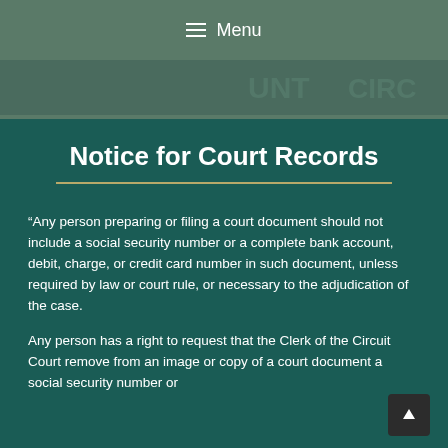≡ Menu
[Figure (illustration): Dark green banner area with a faint court seal/emblem watermark visible on the right side]
Notice for Court Records
“Any person preparing or filing a court document should not include a social security number or a complete bank account, debit, charge, or credit card number in such document, unless required by law or court rule, or necessary to the adjudication of the case.
Any person has a right to request that the Clerk of the Circuit Court remove from an image or copy of a court document a social security number or